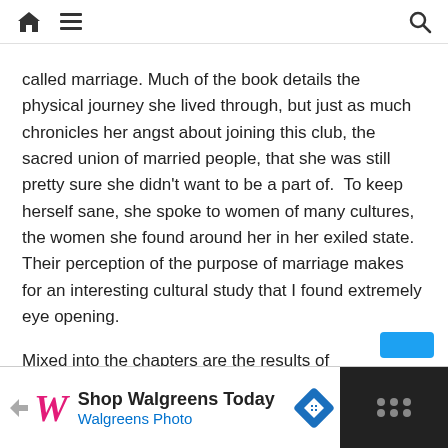Home Menu Search
called marriage. Much of the book details the physical journey she lived through, but just as much chronicles her angst about joining this club, the sacred union of married people, that she was still pretty sure she didn't want to be a part of.  To keep herself sane, she spoke to women of many cultures, the women she found around her in her exiled state. Their perception of the purpose of marriage makes for an interesting cultural study that I found extremely eye opening.
Mixed into the chapters are the results of anthropological research she did, studying the marriage union through history and cultures. I was especially interested to read her break down of the tradition of arranged marriages, and why the divorce rates in countries that practice it tend to rise as more couples choose their own spouses.
[Figure (other): Walgreens advertisement banner: 'Shop Walgreens Today / Walgreens Photo' with Walgreens cursive logo and navigation arrow icon on blue diamond background, dark section on the right with mic icon dots]